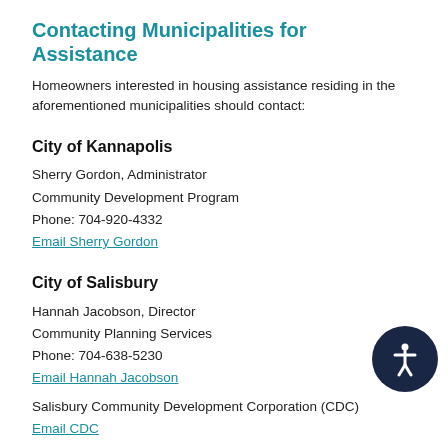Contacting Municipalities for Assistance
Homeowners interested in housing assistance residing in the aforementioned municipalities should contact:
City of Kannapolis
Sherry Gordon, Administrator
Community Development Program
Phone: 704-920-4332
Email Sherry Gordon
City of Salisbury
Hannah Jacobson, Director
Community Planning Services
Phone: 704-638-5230
Email Hannah Jacobson
Salisbury Community Development Corporation (CDC)
Email CDC